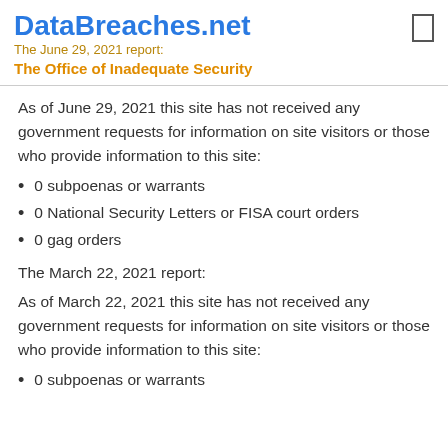DataBreaches.net
The June 29, 2021 report:
The Office of Inadequate Security
As of June 29, 2021 this site has not received any government requests for information on site visitors or those who provide information to this site:
0 subpoenas or warrants
0 National Security Letters or FISA court orders
0 gag orders
The March 22, 2021 report:
As of March 22, 2021 this site has not received any government requests for information on site visitors or those who provide information to this site:
0 subpoenas or warrants